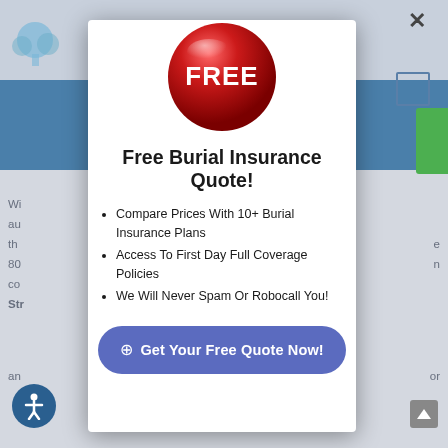[Figure (illustration): Red shiny 3D button/badge with white bold text 'FREE' on it]
Free Burial Insurance Quote!
Compare Prices With 10+ Burial Insurance Plans
Access To First Day Full Coverage Policies
We Will Never Spam Or Robocall You!
⊕ Get Your Free Quote Now!